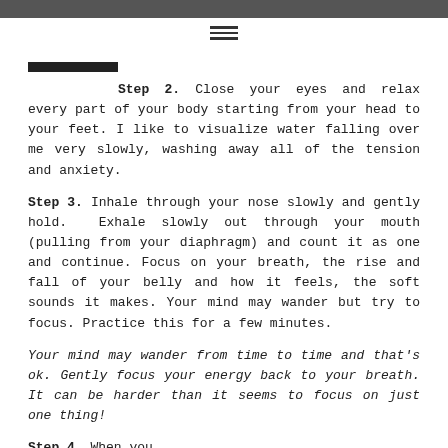Step 2. Close your eyes and relax every part of your body starting from your head to your feet. I like to visualize water falling over me very slowly, washing away all of the tension and anxiety.
Step 3. Inhale through your nose slowly and gently hold. Exhale slowly out through your mouth (pulling from your diaphragm) and count it as one and continue. Focus on your breath, the rise and fall of your belly and how it feels, the soft sounds it makes. Your mind may wander but try to focus. Practice this for a few minutes.
Your mind may wander from time to time and that's ok. Gently focus your energy back to your breath. It can be harder than it seems to focus on just one thing!
Step 4. When you...